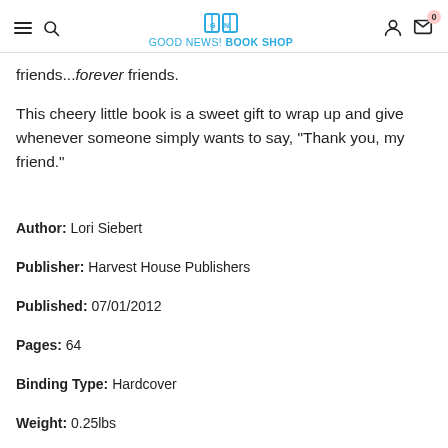GOOD NEWS! BOOK SHOP
friends...forever friends.
This cheery little book is a sweet gift to wrap up and give whenever someone simply wants to say, "Thank you, my friend."
Author: Lori Siebert
Publisher: Harvest House Publishers
Published: 07/01/2012
Pages: 64
Binding Type: Hardcover
Weight: 0.25lbs
Size: 4.70h x 4.60w x 0.40d
ISBN: 9780736945103